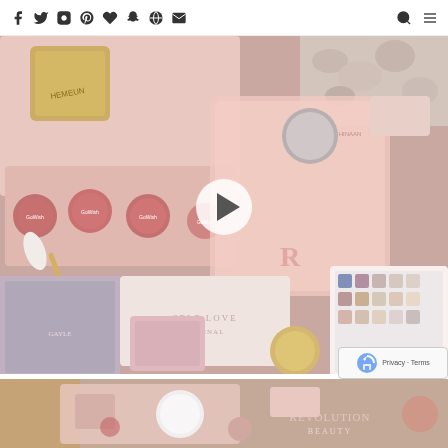Social media blog header with icons: Facebook, Twitter, Instagram, Pinterest, Heart, Snapchat, Globe, Email, Search, Menu
[Figure (photo): Flat lay of beauty/makeup products including GoWish blush tins, Hemeun highlighter palette, Revolution beauty bag, self-love journal, eyeshadow palette, and other cosmetics in pink tones. Has a play button overlay indicating a video thumbnail.]
[Figure (photo): Second beauty product flat lay image partially visible at bottom, showing similar pink cosmetics including what appears to be a Revolution beauty product.]